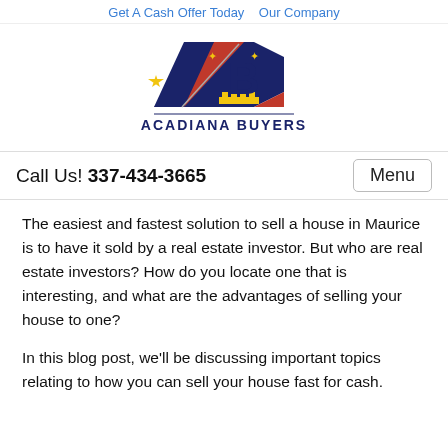Get A Cash Offer Today   Our Company
[Figure (logo): Acadiana Buyers logo with stylized AB letters in navy blue and red with a yellow star and fleur-de-lis symbols, text ACADIANA BUYERS below]
Call Us! 337-434-3665
The easiest and fastest solution to sell a house in Maurice is to have it sold by a real estate investor. But who are real estate investors? How do you locate one that is interesting, and what are the advantages of selling your house to one?
In this blog post, we'll be discussing important topics relating to how you can sell your house fast for cash.